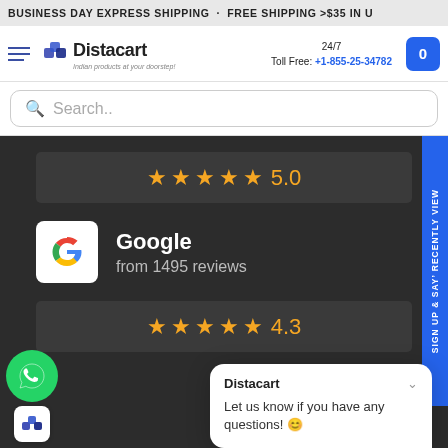BUSINESS DAY EXPRESS SHIPPING . FREE SHIPPING >$35 IN U
[Figure (logo): Distacart logo with hamburger menu, phone number 24/7 Toll Free: +1-855-25-34782, and cart button]
Search..
[Figure (infographic): Star rating 5.0 out of 5 stars on dark background]
[Figure (infographic): Google logo with text: Google, from 1495 reviews]
[Figure (infographic): Star rating 4.3 out of 5 stars on dark background]
Distacart
Let us know if you have any questions! 😊